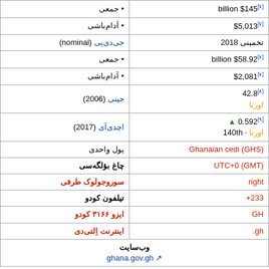| جمعی • | [۷]$145 billion |
| آدام باشی • | [۷]$5,013 |
| جی‌دی‌پی (nominal) تخمینی 2018 |  |
| جمعی • | [۷]$58.92 billion |
| آدام باشی • | [۷]$2,081 |
| جینی (2006) | [۸]42.8 / اورتا |
| اچدی‌آی (2017) | ▲ [۹]0.592 / اورتا · 140th |
| پول واحدی | Ghanaian cedi (GHS) |
| چاغ بؤلگه‌سی | UTC+0 (GMT) |
| سوروجولوک طرفی | right |
| تیلفون کودو | 233+ |
| ایزو ۳۱۶۶ کودو | GH |
| اینترنت اِلتی‌دی | gh. |
| وب‌سایت | ghana.gov.gh |